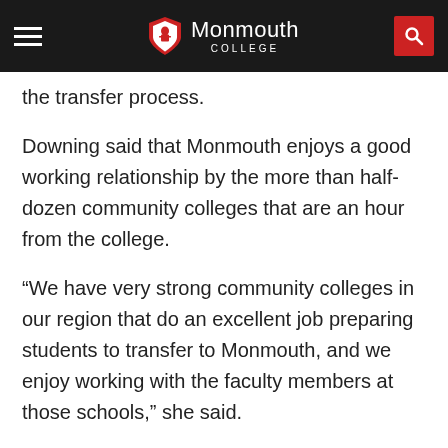Monmouth College
the transfer process.
Downing said that Monmouth enjoys a good working relationship by the more than half-dozen community colleges that are an hour from the college.
“We have very strong community colleges in our region that do an excellent job preparing students to transfer to Monmouth, and we enjoy working with the faculty members at those schools,” she said.